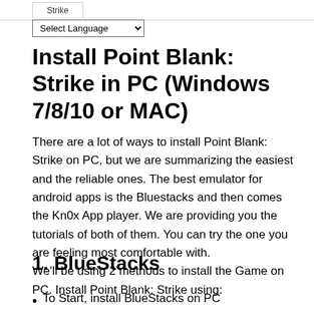Strike
Install Point Blank: Strike in PC (Windows 7/8/10 or MAC)
There are a lot of ways to install Point Blank: Strike on PC, but we are summarizing the easiest and the reliable ones. The best emulator for android apps is the Bluestacks and then comes the Kn0x App player. We are providing you the tutorials of both of them. You can try the one you are feeling most comfortable with.
We'll be using 2 methods to install the Game on PC. Install Point Blank: Strike using:
1. BlueStacks
To Start, install BlueStacks on PC